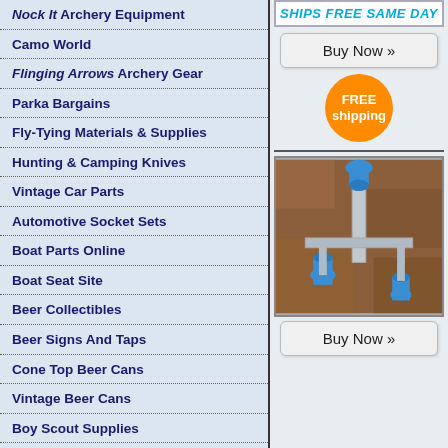Nock It Archery Equipment
Camo World
Flinging Arrows Archery Gear
Parka Bargains
Fly-Tying Materials & Supplies
Hunting & Camping Knives
Vintage Car Parts
Automotive Socket Sets
Boat Parts Online
Boat Seat Site
Beer Collectibles
Beer Signs And Taps
Cone Top Beer Cans
Vintage Beer Cans
Boy Scout Supplies
Science & Medicine Antiques
Civil War Memorabillia
WWII Memorabilia
SHIPS FREE SAME DAY
Buy Now »
FREE shipping
[Figure (photo): Aerial or overhead photo showing blue irrigation/pipe fittings or valves installed in brown soil/earth]
Buy Now »